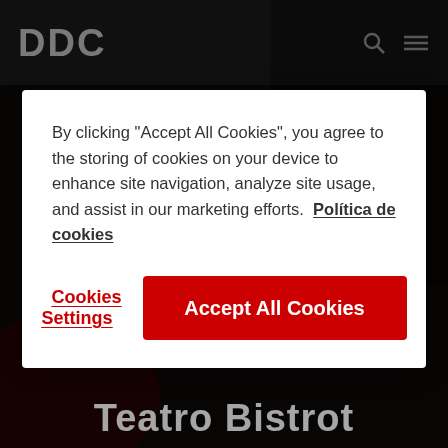[Figure (screenshot): Website screenshot with dark background showing a food/caviar image and 'Teatro Bistrot' text at bottom, with a cookie consent modal dialog overlaid on top]
By clicking “Accept All Cookies”, you agree to the storing of cookies on your device to enhance site navigation, analyze site usage, and assist in our marketing efforts.  Política de cookies
Cookies Settings
Accept All Cookies
Teatro Bistrot